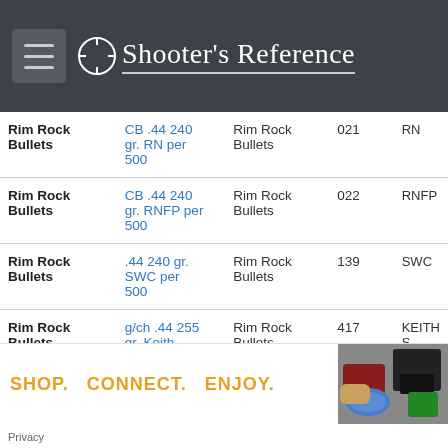Shooter's Reference
| Brand | Product | Manufacturer | ID | Type |
| --- | --- | --- | --- | --- |
| Rim Rock Bullets | CB .44 240 gr. RN per 500 | Rim Rock Bullets | 021 | RN |
| Rim Rock Bullets | CB .44 240 gr. RNFP per 500 | Rim Rock Bullets | 022 | RNFP |
| Rim Rock Bullets | .44 240 gr. SWC per 500 | Rim Rock Bullets | 139 | SWC |
| Rim Rock Bullets | g/ch .44 255 gr. Keith ... | Rim Rock Bullets | 417 | KEITH S |
SHOP.   CONNECT.   ENJOY.
Privacy